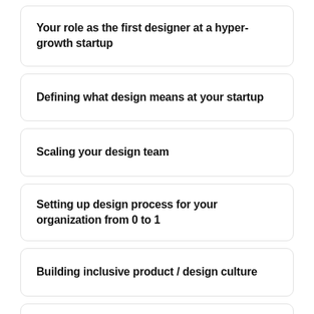Your role as the first designer at a hyper-growth startup
Defining what design means at your startup
Scaling your design team
Setting up design process for your organization from 0 to 1
Building inclusive product / design culture
Getting a seat at the table